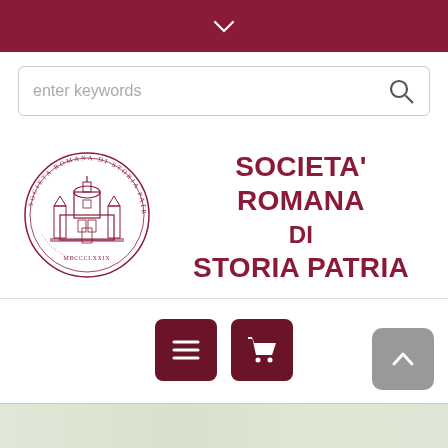enter keywords
[Figure (logo): Circular seal/emblem of Societa Romana di Storia Patria featuring a cathedral building in the center surrounded by Latin text]
SOCIETA' ROMANA DI STORIA PATRIA
[Figure (illustration): Two dark red square buttons: a hamburger menu icon and a shopping cart icon]
[Figure (illustration): Grey rounded scroll-to-top button with upward arrow]
[Figure (illustration): Bottom partial strip showing green-grey background, likely map or decorative image]